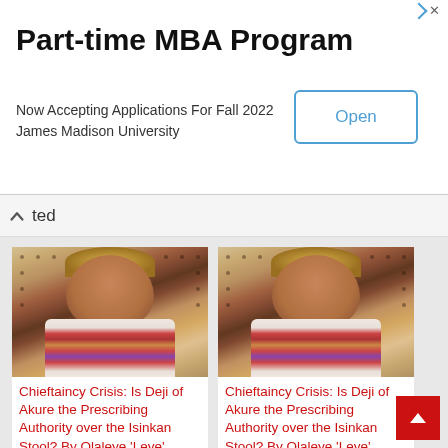[Figure (screenshot): Advertisement banner for Part-time MBA Program at James Madison University, with an Open button on the right.]
Part-time MBA Program
Now Accepting Applications For Fall 2022
James Madison University
ted
[Figure (photo): Photo of a man in traditional Nigerian chieftaincy attire with colorful embroidered outfit and headgear, against a dotted background.]
Chieftaincy Crisis: Is Deji of Akure the Prescribing Authority over the Isinkan Stool? By Olaleye ‘Leye’ Babalola
May 31, 2022
In “News”
[Figure (photo): Photo of a man in traditional Nigerian chieftaincy attire with colorful embroidered outfit and headgear, against a dotted background.]
Chieftaincy Crisis: Is Deji of Akure the Prescribing Authority over the Isinkan Stool? By Olaleye ‘Leye’ Babalola
May 31, 2022
In “News”
[Figure (photo): Partial photo of same man in traditional Nigerian chieftaincy attire, bottom of page.]